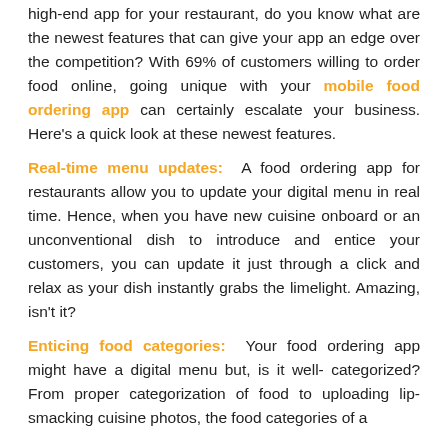high-end app for your restaurant, do you know what are the newest features that can give your app an edge over the competition? With 69% of customers willing to order food online, going unique with your mobile food ordering app can certainly escalate your business. Here's a quick look at these newest features.
Real-time menu updates: A food ordering app for restaurants allow you to update your digital menu in real time. Hence, when you have new cuisine onboard or an unconventional dish to introduce and entice your customers, you can update it just through a click and relax as your dish instantly grabs the limelight. Amazing, isn't it?
Enticing food categories: Your food ordering app might have a digital menu but, is it well- categorized? From proper categorization of food to uploading lip-smacking cuisine photos, the food categories of a